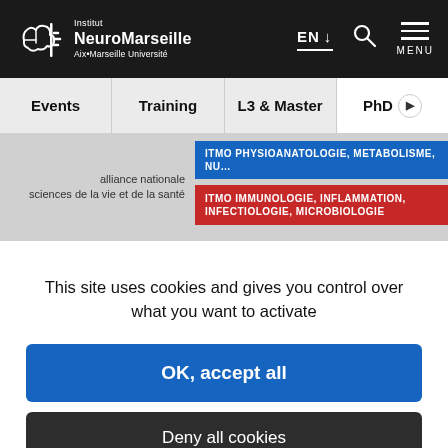[Figure (logo): Institut NeuroMarseille Aix-Marseille Université logo with brain icon, white text on dark background, with EN language selector, search icon, and MENU hamburger]
Events
Training
L3 & Master
PhD
[Figure (screenshot): Banner showing 'alliance nationale sciences de la vie et de la santé' on the left and two colored bars on the right: a blue bar partially visible at top and a red bar reading 'ITMO IMMUNOLOGIE, INFLAMMATION, INFECTIOLOGIE, MICROBIOLOGIE']
This site uses cookies and gives you control over what you want to activate
OK, accept all
Deny all cookies
Personalize